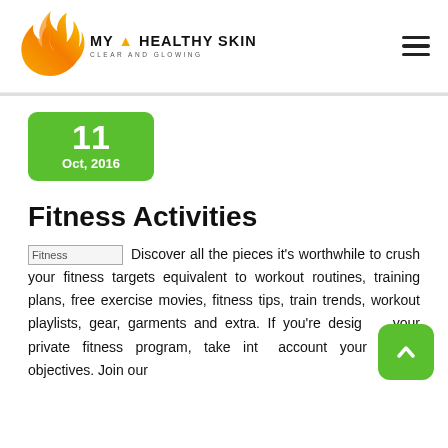[Figure (logo): My Healthy Skin logo with flame/face silhouette in orange/gold gradient and text 'MY HEALTHY SKIN CLEAR AND GLOWING']
[Figure (infographic): Green rounded rectangle date badge showing '11 Oct, 2016']
Fitness Activities
[Figure (photo): Broken image placeholder labeled 'Fitness']
Discover all the pieces it's worthwhile to crush your fitness targets equivalent to workout routines, training plans, free exercise movies, fitness tips, train trends, workout playlists, gear, garments and extra. If you're desig your private fitness program, take into account your fitness objectives. Join our